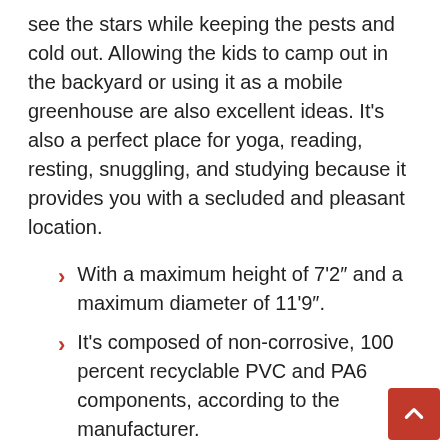see the stars while keeping the pests and cold out. Allowing the kids to camp out in the backyard or using it as a mobile greenhouse are also excellent ideas. It's also a perfect place for yoga, reading, resting, snuggling, and studying because it provides you with a secluded and pleasant location.
With a maximum height of 7'2″ and a maximum diameter of 11'9″.
It's composed of non-corrosive, 100 percent recyclable PVC and PA6 components, according to the manufacturer.
Protecting the cover from excessive UV exposure and keeping it clean before storage it will help to extend its use of the